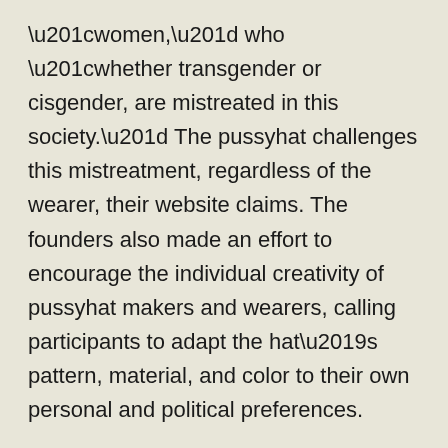“women,” who “whether transgender or cisgender, are mistreated in this society.” The pussyhat challenges this mistreatment, regardless of the wearer, their website claims. The founders also made an effort to encourage the individual creativity of pussyhat makers and wearers, calling participants to adapt the hat’s pattern, material, and color to their own personal and political preferences.
Staying true to their commitment to create not only a fashion statement, but also a platform for people to connect with each other and organize to promote gender equality, the Pussyhat Project provides a space and a community for